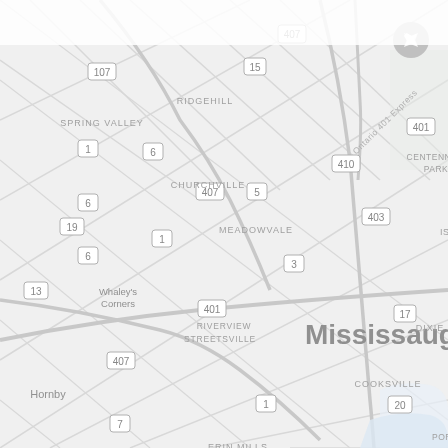[Figure (map): Google Maps style road map of Mississauga, Ontario, Canada showing neighborhoods including Spring Valley, Ridgehill, Churchville, Meadowvale, Whaley's Corners, Riverview, Streetsville, Hornby, Erin Mills, Erindale, Cooksville, Clarkson, Clearview, Dixie, Centennial Park, and Port Credit. Major highways shown include 401, 403, 407, 410, and various regional roads numbered 1, 3, 4, 5, 6, 7, 13, 15, 17, 19, 20, 27, 107. The city name 'Mississauga' appears prominently in large gray text. An airplane/airport icon is visible in the upper right area. The map is rendered in a light gray and white color scheme.]